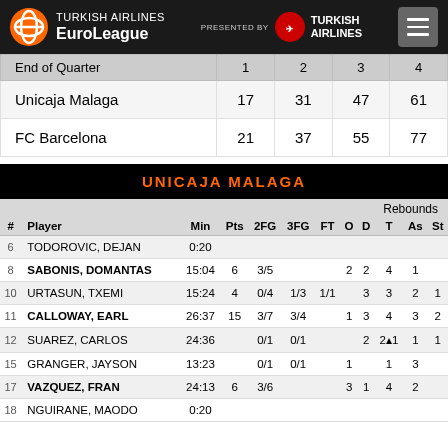Turkish Airlines EuroLeague — Presented by Turkish Airlines
| End of Quarter | 1 | 2 | 3 | 4 |
| --- | --- | --- | --- | --- |
| Unicaja Malaga | 17 | 31 | 47 | 61 |
| FC Barcelona | 21 | 37 | 55 | 77 |
UNICAJA MALAGA
| # | Player | Min | Pts | 2FG | 3FG | FT | O | D | T | As | St |
| --- | --- | --- | --- | --- | --- | --- | --- | --- | --- | --- | --- |
| 6 | TODOROVIC, DEJAN | 0:20 |  |  |  |  |  |  |  |  |  |
| 8 | SABONIS, DOMANTAS | 15:04 | 6 | 3/5 |  |  | 2 | 2 | 4 | 1 |  |
| 10 | URTASUN, TXEMI | 15:24 | 4 | 0/4 | 1/3 | 1/1 |  | 3 | 3 | 2 | 1 |
| 11 | CALLOWAY, EARL | 26:37 | 15 | 3/7 | 3/4 |  | 1 | 3 | 4 | 3 | 2 |
| 12 | SUAREZ, CARLOS | 24:36 |  | 0/1 | 0/1 |  |  | 2 | 2 | 1 | 1 |
| 15 | GRANGER, JAYSON | 13:23 |  | 0/1 | 0/1 |  | 1 |  | 1 | 3 |  |
| 17 | VAZQUEZ, FRAN | 24:13 | 6 | 3/6 |  |  | 3 | 1 | 4 | 2 |  |
| 18 | NGUIRANE, MAODO | 0:20 |  |  |  |  |  |  |  |  |  |